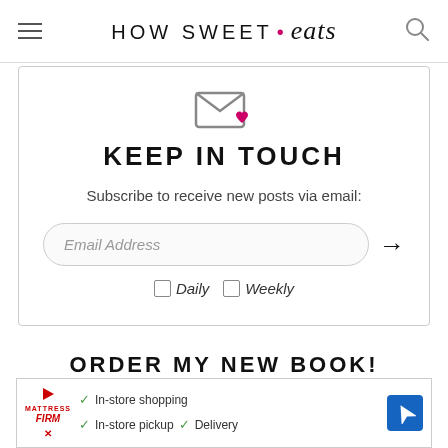HOW SWEET • eats
[Figure (illustration): Email envelope icon with a small pink heart]
KEEP IN TOUCH
Subscribe to receive new posts via email:
[Figure (infographic): Email input field with placeholder 'Email Address' and a right arrow button, with Daily and Weekly checkboxes below]
ORDER MY NEW BOOK!
[Figure (infographic): Advertisement banner for Mattress Firm with checkmarks for In-store shopping, In-store pickup, and Delivery, plus a navigation icon]